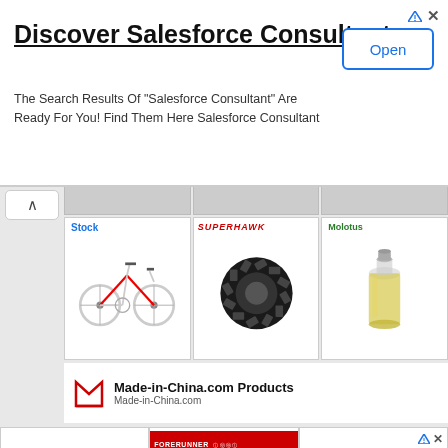[Figure (screenshot): Advertisement banner: 'Discover Salesforce Consultant' with 'Open' button and body text 'The Search Results Of "Salesforce Consultant" Are Ready For You! Find Them Here Salesforce Consultant']
[Figure (screenshot): Made-in-China.com product grid showing bicycles, tires, chemical bottles, industrial machines, backpacks, and other products in a grid layout with brand logos]
[Figure (screenshot): Second advertisement row showing Forerunner tire ad with 'factory direct sales' label and a backpack product]